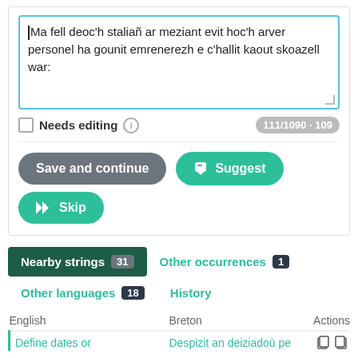Ma fell deoc'h staliañ ar meziant evit hoc'h arver personel ha gounit emrenerezh e c'hallit kaout skoazell war:
Needs editing  111/1090 · 109
[Figure (screenshot): Buttons: Save and continue (grey), Suggest (teal), Skip (teal)]
Nearby strings 31   Other occurrences 1   Other languages 18   History
| English | Breton | Actions |
| --- | --- | --- |
| Define dates or | Despizit an deiziadoù pe |  |